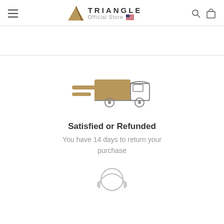TRIANGLE Official Store
[Figure (illustration): Fast delivery truck icon with speed lines, tan/brown filled body, outline style cab]
Satisfied or Refunded
You have 14 days to return your purchase
[Figure (illustration): Partial view of a customer service/help icon at bottom of page]